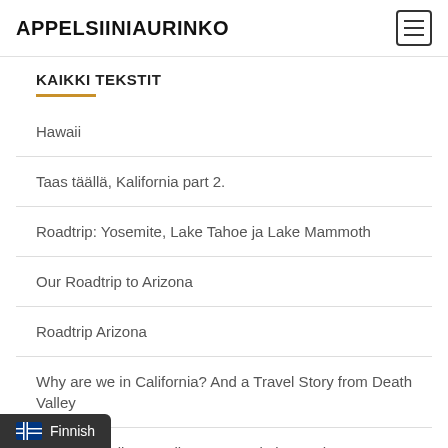APPELSIINIAURINKO
KAIKKI TEKSTIT
Hawaii
Taas täällä, Kalifornia part 2.
Roadtrip: Yosemite, Lake Tahoe ja Lake Mammoth
Our Roadtrip to Arizona
Roadtrip Arizona
Why are we in California? And a Travel Story from Death Valley
Miksi vielä ollaan täällä? Ja tunnelmia Death
Finnish